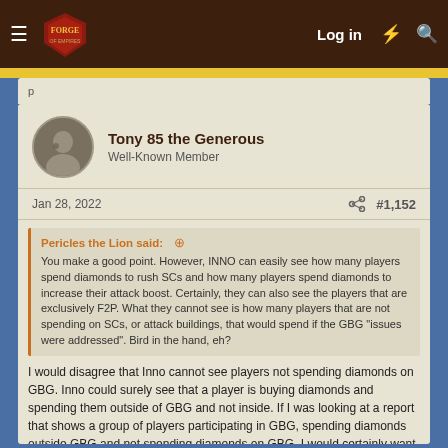Forge of Empires — Log in
Tony 85 the Generous
Well-Known Member
Jan 28, 2022  #1,152
Pericles the Lion said: You make a good point. However, INNO can easily see how many players spend diamonds to rush SCs and how many players spend diamonds to increase their attack boost. Certainly, they can also see the players that are exclusively F2P. What they cannot see is how many players that are not spending on SCs, or attack buildings, that would spend if the GBG "issues were addressed". Bird in the hand, eh?
I would disagree that Inno cannot see players not spending diamonds on GBG. Inno could surely see that a player is buying diamonds and spending them outside of GBG and not inside. If I was looking at a report that shows a group of players participating in GBG, spending diamonds outside GBG and not spending diamonds on GBG, I would certainly want to know about this as an interested stakeholder.